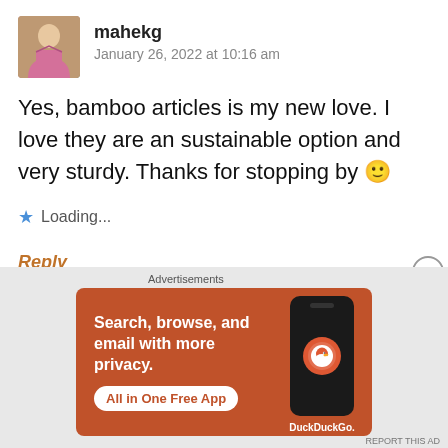[Figure (photo): Avatar photo of user mahekg, a woman in a pink outfit]
mahekg
January 26, 2022 at 10:16 am
Yes, bamboo articles is my new love. I love they are an sustainable option and very sturdy. Thanks for stopping by 🙂
Loading...
Reply
Advertisements
[Figure (screenshot): DuckDuckGo advertisement banner with orange background. Text: Search, browse, and email with more privacy. All in One Free App. Shows a phone with DuckDuckGo logo.]